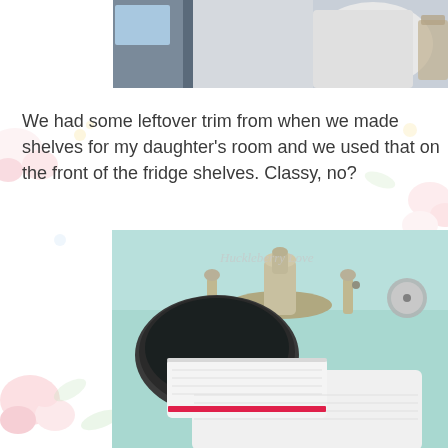[Figure (photo): Top portion of a photo showing a kitchen or bathroom scene, partially cropped — light-colored appliance or fixture visible against a wall]
We had some leftover trim from when we made shelves for my daughter's room and we used that on the front of the fridge shelves. Classy, no?
[Figure (photo): A bathroom or kitchen sink area with a brushed nickel faucet on a light blue/mint countertop. A dark round sink bowl is visible on the lower left. A white folded towel with a pink/red stripe lies in the foreground. Watermark text reads 'Huckleberry Love'.]